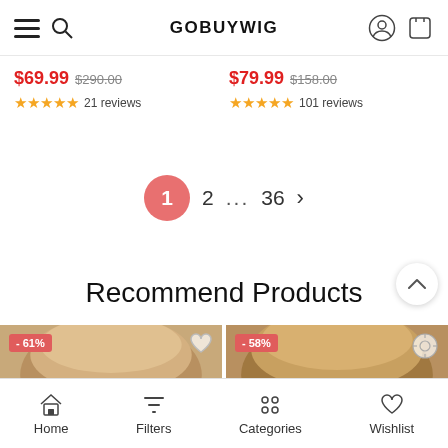GOBUYWIG
$69.99 $290.00 — 21 reviews | $79.99 $158.00 — 101 reviews
Pagination: 1 2 ... 36 >
Recommend Products
[Figure (photo): Two product cards showing wigs with discount badges -61% and -58%]
Home | Filters | Categories | Wishlist